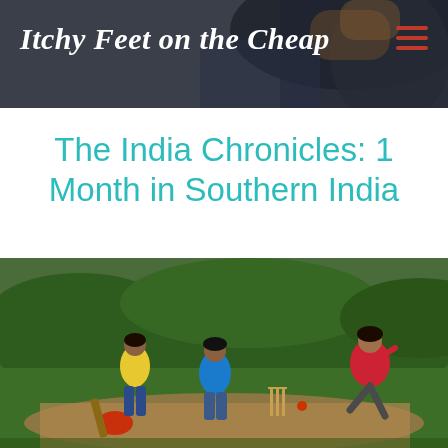Itchy Feet on the Cheap
The India Chronicles: 1 Month in Southern India
[Figure (photo): Cricket game being played on a dirt pitch surrounded by green grass. Players visible include a bowler in red shirt mid-action, a batsman, and two fielders in yellow and blue shirts.]